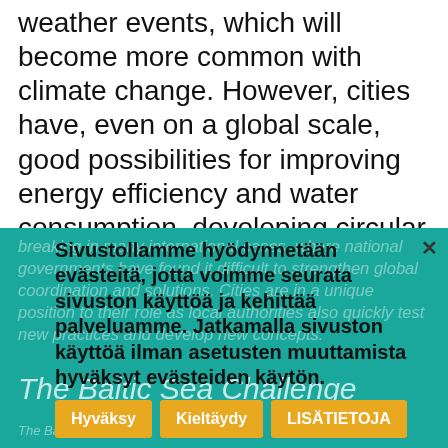weather events, which will become more common with climate change. However, cities have, even on a global scale, good possibilities for improving energy efficiency and water consumption, developing circular economy, reducing the carbon footprint and developing a sustainable societal structure. The significance of cities and their practical level collaboration has been ground
breaking in many international cases, where national governments have found it difficult to strengthen global coordination and solutions. Cities are in a unique position to their role as local authorities also quickly test new practices and develop new concepts.
[Figure (screenshot): Cookie consent overlay popup on a teal/turquoise background section. The popup shows Finnish text: 'Sivustollamme hyödynnetään evästeitä, jotta voimme seurata sivuston käyttöä ja kehittää palveluamme. Jatkamalla sivuston käyttöä ilman asetusten muuttamista hyväksyt evästeiden käytön.' with three yellow buttons: Hyväksy, Kieltäydy, LISÄTIETOJA. A close X button is visible top right.]
The Baltic Sea Challenge